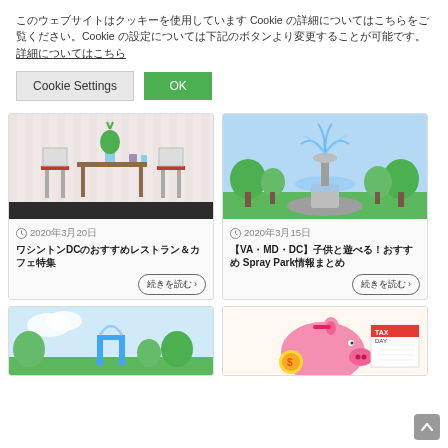このウェブサイトはクッキーを使用しています Cookie の詳細についてはこちらをご覧ください。Cookie の設定については下記のボタンより変更することが可能です。詳細についてはこちら
Cookie Settings  OK
[Figure (illustration): Illustration of a dining table with two red chairs, a plant and items on the table, striped wallpaper background with dark floor]
2020年3月20日
ワシントンDCのおすすめレストラン＆カフェ特集
続きを読む >
[Figure (illustration): Illustration of a decorative fountain with water spraying, green trees in background, blue sky]
2020年3月15日
【VA・MD・DC】子供と遊べる！おすすめ Spray Park情報まとめ
続きを読む >
[Figure (illustration): Illustration of a spray park with water jets, green trees, blue sky and clouds]
[Figure (illustration): Illustration of a piggy bank with coins, TAX DAY calendar, financial themed image]